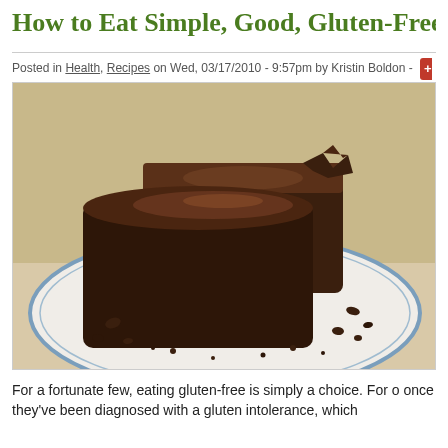How to Eat Simple, Good, Gluten-Free, a
Posted in Health, Recipes on Wed, 03/17/2010 - 9:57pm by Kristin Boldon - SHARE
[Figure (photo): A plate with two large chocolate brownies, rich and fudgy, on a white plate with a blue rim, with brownie crumbs scattered around.]
For a fortunate few, eating gluten-free is simply a choice. For o once they've been diagnosed with a gluten intolerance, which